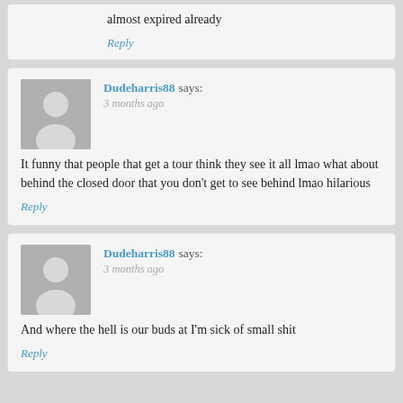almost expired already
Reply
Dudeharris88 says:
3 months ago
It funny that people that get a tour think they see it all lmao what about behind the closed door that you don't get to see behind lmao hilarious
Reply
Dudeharris88 says:
3 months ago
And where the hell is our buds at I'm sick of small shit
Reply